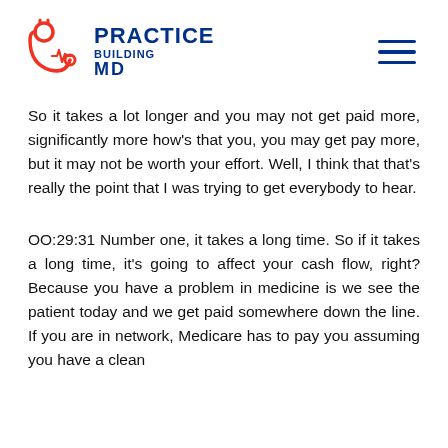[Figure (logo): Practice Building MD logo with stethoscope and heartbeat line in red, text in dark blue]
So it takes a lot longer and you may not get paid more, significantly more how's that you, you may get pay more, but it may not be worth your effort. Well, I think that that's really the point that I was trying to get everybody to hear.
OO:29:31 Number one, it takes a long time. So if it takes a long time, it's going to affect your cash flow, right? Because you have a problem in medicine is we see the patient today and we get paid somewhere down the line. If you are in network, Medicare has to pay you assuming you have a clean